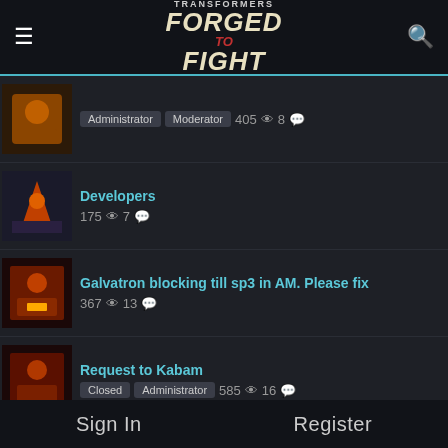Transformers Forged to Fight — navigation header with menu and search icons
Administrator Moderator 405 views 8 comments
Developers 175 views 7 comments
Galvatron blocking till sp3 in AM. Please fix 367 views 13 comments
Request to Kabam Closed Administrator 585 views 16 comments
Grimlock's sp1 not connecting against AM Scorponk 148 views 5 comments
Robot suggestion. Closed 194 views 4 comments
Please don't ignored 246 views 6 comments
Differentiated AM level
Sign In   Register